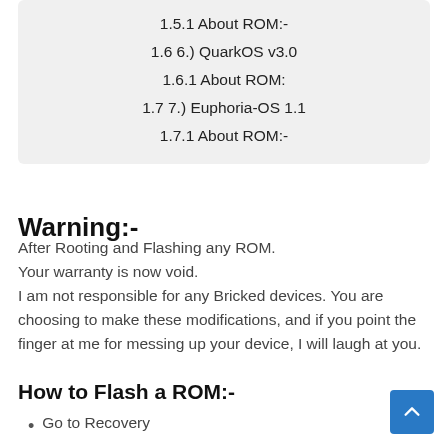1.5.1 About ROM:-
1.6 6.) QuarkOS v3.0
1.6.1 About ROM:
1.7 7.) Euphoria-OS 1.1
1.7.1 About ROM:-
Warning:-
After Rooting and Flashing any ROM.
Your warranty is now void.
I am not responsible for any Bricked devices. You are choosing to make these modifications, and if you point the finger at me for messing up your device, I will laugh at you.
How to Flash a ROM:-
Go to Recovery